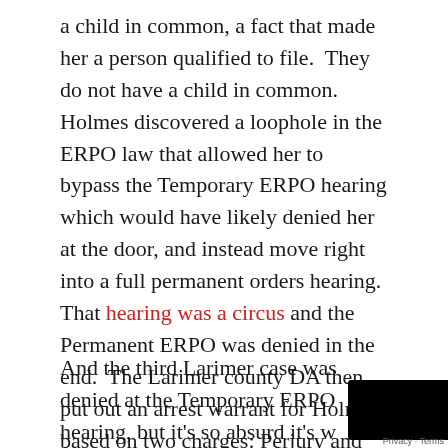a child in common, a fact that made her a person qualified to file.  They do not have a child in common.  Holmes discovered a loophole in the ERPO law that allowed her to bypass the Temporary ERPO hearing which would have likely denied her at the door, and instead move right into a full permanent orders hearing.  That hearing was a circus and the Permanent ERPO was denied in the end.  The Larimer county DA then put out an arrest warrant for Holmes based on two charges: Perjury and Attempting to Influence a Public Servant.  After nearly two weeks on the run, Holmes was arrested.

And the third Larimer case was denied at the Temporary ERPO hearing, but it's so absurd it's w pointing out.  This was our first case of legitimate